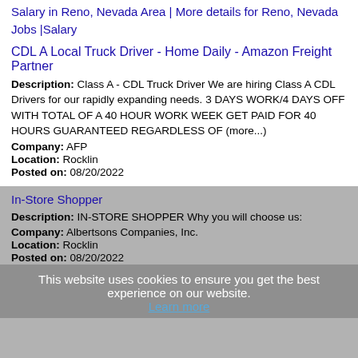Salary in Reno, Nevada Area | More details for Reno, Nevada Jobs |Salary
CDL A Local Truck Driver - Home Daily - Amazon Freight Partner
Description: Class A - CDL Truck Driver We are hiring Class A CDL Drivers for our rapidly expanding needs. 3 DAYS WORK/4 DAYS OFF WITH TOTAL OF A 40 HOUR WORK WEEK GET PAID FOR 40 HOURS GUARANTEED REGARDLESS OF (more...)
Company: AFP
Location: Rocklin
Posted on: 08/20/2022
In-Store Shopper
Description: IN-STORE SHOPPER Why you will choose us:
Company: Albertsons Companies, Inc.
Location: Rocklin
Posted on: 08/20/2022
This website uses cookies to ensure you get the best experience on our website. Learn more
Weekday Caregiver - Earn up to $15/hr
Description: The non-medical caregiver industry is growing at an alarming rate and good, reliable providers are in high demand. Create a flexible schedule that works for you. Apply for both Part-Time or Full-Time (more...)